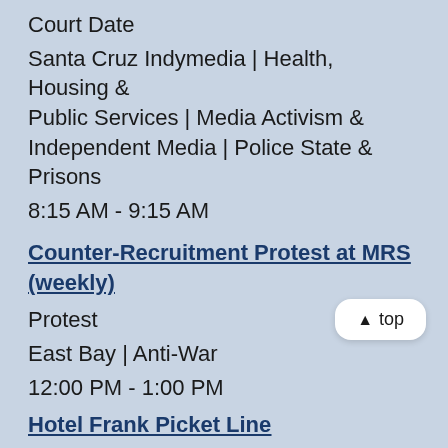Court Date
Santa Cruz Indymedia | Health, Housing & Public Services | Media Activism & Independent Media | Police State & Prisons
8:15 AM - 9:15 AM
Counter-Recruitment Protest at MRS (weekly)
Protest
East Bay | Anti-War
12:00 PM - 1:00 PM
Hotel Frank Picket Line